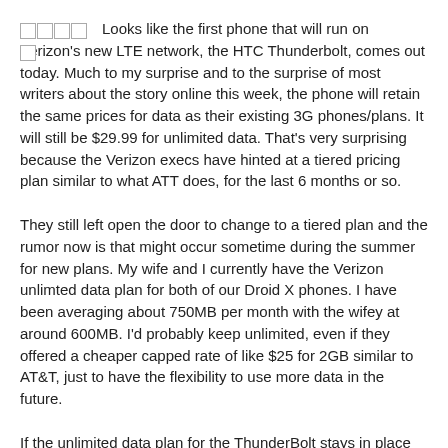[rating stars] Looks like the first phone that will run on Verizon's new LTE network, the HTC Thunderbolt, comes out today. Much to my surprise and to the surprise of most writers about the story online this week, the phone will retain the same prices for data as their existing 3G phones/plans. It will still be $29.99 for unlimited data. That's very surprising because the Verizon execs have hinted at a tiered pricing plan similar to what ATT does, for the last 6 months or so.
They still left open the door to change to a tiered plan and the rumor now is that might occur sometime during the summer for new plans. My wife and I currently have the Verizon unlimted data plan for both of our Droid X phones. I have been averaging about 750MB per month with the wifey at around 600MB. I'd probably keep unlimited, even if they offered a cheaper capped rate of like $25 for 2GB similar to AT&T, just to have the flexibility to use more data in the future.
If the unlimited data plan for the ThunderBolt stays in place...